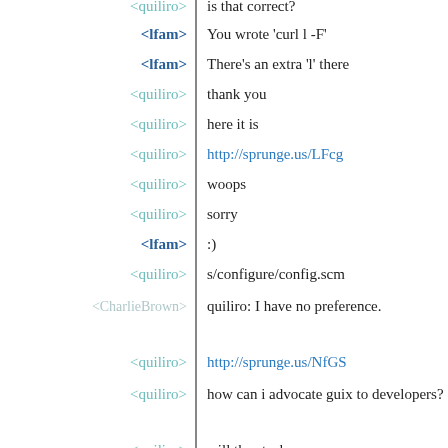<quiliro> is that correct?
<lfam> You wrote 'curl l -F'
<lfam> There's an extra 'l' there
<quiliro> thank you
<quiliro> here it is
<quiliro> http://sprunge.us/LFcg
<quiliro> woops
<quiliro> sorry
<lfam> :)
<quiliro> s/configure/config.scm
<CharlieBrown> quiliro: I have no preference.
<quiliro> http://sprunge.us/NfGS
<quiliro> how can i advocate guix to developers?
<quiliro> will the stack